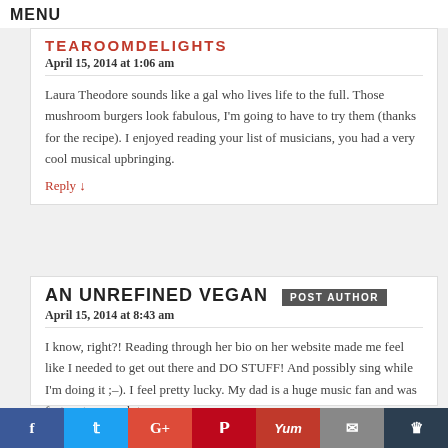MENU
TEAROOMDELIGHTS
April 15, 2014 at 1:06 am
Laura Theodore sounds like a gal who lives life to the full. Those mushroom burgers look fabulous, I'm going to have to try them (thanks for the recipe). I enjoyed reading your list of musicians, you had a very cool musical upbringing.
Reply ↓
AN UNREFINED VEGAN POST AUTHOR
April 15, 2014 at 8:43 am
I know, right?! Reading through her bio on her website made me feel like I needed to get out there and DO STUFF! And possibly sing while I'm doing it ;–). I feel pretty lucky. My dad is a huge music fan and was fortunate enough to